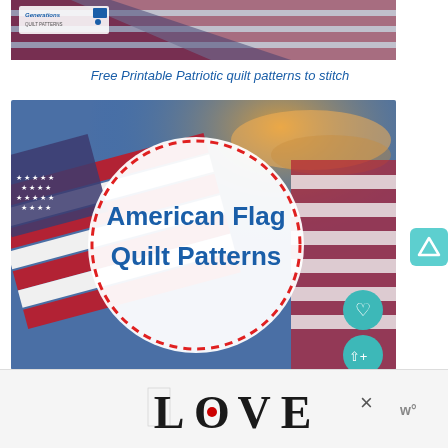[Figure (photo): Top portion of American flag with red, white, and blue stripes, with a Generations Quilt Patterns logo overlay in top left]
Free Printable Patriotic quilt patterns to stitch
[Figure (photo): American flag waving against a sky background with white circle overlay containing dashed red border and text 'American Flag Quilt Patterns' in blue, with teal heart and share buttons]
[Figure (photo): Bottom advertisement showing decorative LOVE text with ornate lettering and a red heart dot, with close X button and W logo]